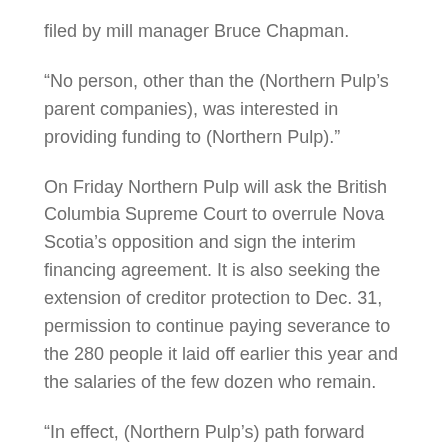filed by mill manager Bruce Chapman.
“No person, other than the (Northern Pulp’s parent companies), was interested in providing funding to (Northern Pulp).”
On Friday Northern Pulp will ask the British Columbia Supreme Court to overrule Nova Scotia’s opposition and sign the interim financing agreement. It is also seeking the extension of creditor protection to Dec. 31, permission to continue paying severance to the 280 people it laid off earlier this year and the salaries of the few dozen who remain.
“In effect, (Northern Pulp’s) path forward